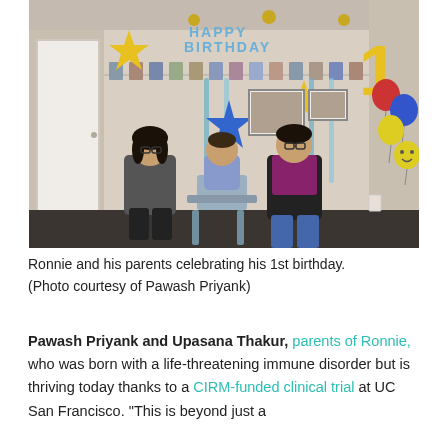[Figure (photo): A family photo showing a couple (a woman and a man) posing with their baby at a 1st birthday party. The background shows a 'Happy Birthday' banner, gold star balloons, a large gold number '1' balloon, blue and red and yellow balloons, and a photo garland strung along the wall. The baby sits in a high chair between the parents.]
Ronnie and his parents celebrating his 1st birthday. (Photo courtesy of Pawash Priyank)
Pawash Priyank and Upasana Thakur, parents of Ronnie, who was born with a life-threatening immune disorder but is thriving today thanks to a CIRM-funded clinical trial at UC San Francisco. "This is beyond just a